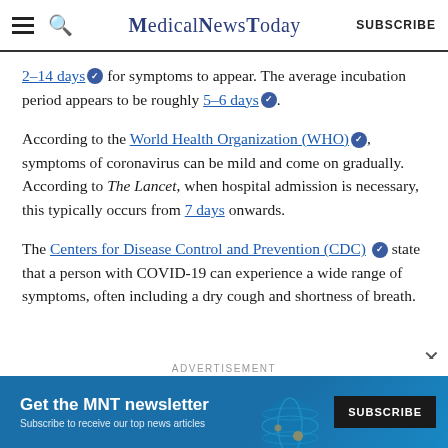MedicalNewsToday | SUBSCRIBE
2–14 days for symptoms to appear. The average incubation period appears to be roughly 5–6 days.
According to the World Health Organization (WHO), symptoms of coronavirus can be mild and come on gradually. According to The Lancet, when hospital admission is necessary, this typically occurs from 7 days onwards.
The Centers for Disease Control and Prevention (CDC) state that a person with COVID-19 can experience a wide range of symptoms, often including a dry cough and shortness of breath.
ADVERTISEMENT
[Figure (screenshot): MNT newsletter advertisement banner: 'Get the MNT newsletter — Subscribe to receive our top news articles' with a SUBSCRIBE button on dark background, and a globe illustration on teal/blue background.]